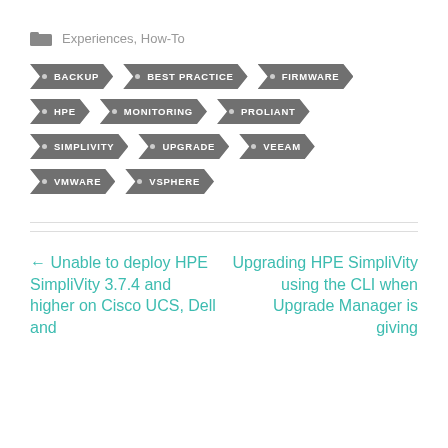Experiences, How-To
BACKUP
BEST PRACTICE
FIRMWARE
HPE
MONITORING
PROLIANT
SIMPLIVITY
UPGRADE
VEEAM
VMWARE
VSPHERE
← Unable to deploy HPE SimpliVity 3.7.4 and higher on Cisco UCS, Dell and
Upgrading HPE SimpliVity using the CLI when Upgrade Manager is giving